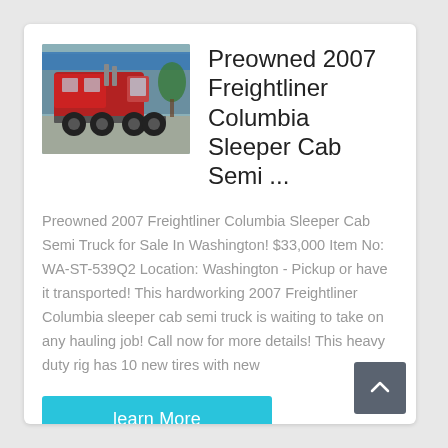[Figure (photo): Red Freightliner Columbia semi truck (2007), rear three-quarter view, parked in a lot with a blue-roofed building and trees in the background.]
Preowned 2007 Freightliner Columbia Sleeper Cab Semi ...
Preowned 2007 Freightliner Columbia Sleeper Cab Semi Truck for Sale In Washington! $33,000 Item No: WA-ST-539Q2 Location: Washington - Pickup or have it transported! This hardworking 2007 Freightliner Columbia sleeper cab semi truck is waiting to take on any hauling job! Call now for more details! This heavy duty rig has 10 new tires with new
learn More